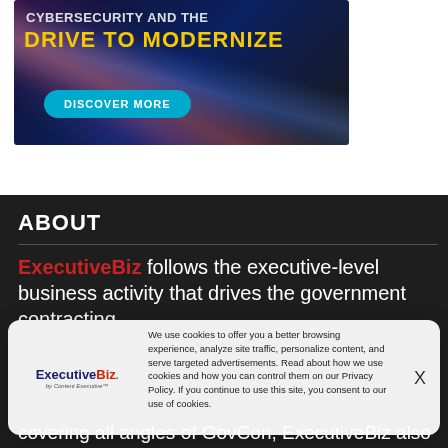[Figure (illustration): Dark banner advertisement with streaks of light/highway, text reading 'Cybersecurity and the DRIVE TO MODERNIZE' with a 'DISCOVER MORE' button]
ABOUT
ExecutiveBiz follows the executive-level business activity that drives the government contracting
[Figure (infographic): Cookie consent popup with ExecutiveBiz logo, message about cookies and privacy policy, and X close button]
covering all angles of GovCon, ExecutiveBiz also helps